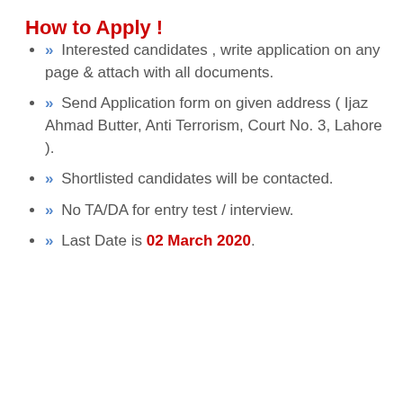How to Apply !
» Interested candidates , write application on any page & attach with all documents.
» Send Application form on given address ( Ijaz Ahmad Butter, Anti Terrorism, Court No. 3, Lahore ).
» Shortlisted candidates will be contacted.
» No TA/DA for entry test / interview.
» Last Date is 02 March 2020.